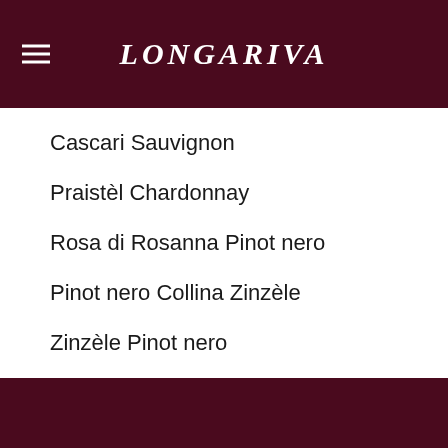LONGARIVA
Cascari Sauvignon
Praistèl Chardonnay
Rosa di Rosanna Pinot nero
Pinot nero Collina Zinzèle
Zinzèle Pinot nero
A little chitchat with the vine grower